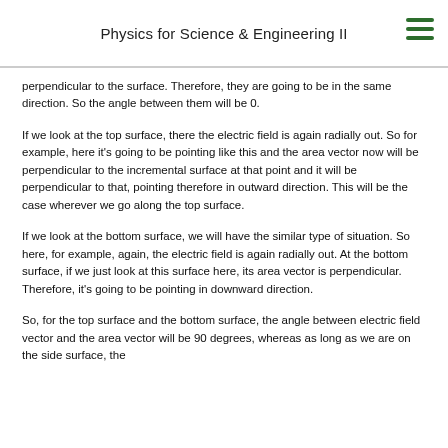Physics for Science & Engineering II
perpendicular to the surface. Therefore, they are going to be in the same direction. So the angle between them will be 0.
If we look at the top surface, there the electric field is again radially out. So for example, here it’s going to be pointing like this and the area vector now will be perpendicular to the incremental surface at that point and it will be perpendicular to that, pointing therefore in outward direction. This will be the case wherever we go along the top surface.
If we look at the bottom surface, we will have the similar type of situation. So here, for example, again, the electric field is again radially out. At the bottom surface, if we just look at this surface here, its area vector is perpendicular. Therefore, it’s going to be pointing in downward direction.
So, for the top surface and the bottom surface, the angle between electric field vector and the area vector will be 90 degrees, whereas as long as we are on the side surface, the